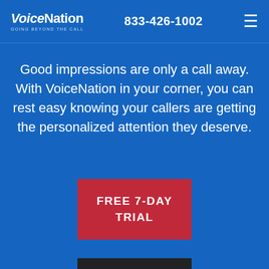VoiceNation — GOING BEYOND THE CALL | 833-426-1002 | ≡
Good impressions are only a call away. With VoiceNation in your corner, you can rest easy knowing your callers are getting the personalized attention they deserve.
FREE 7-DAY TRIAL